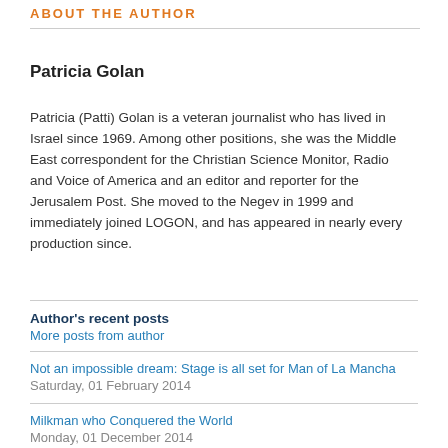ABOUT THE AUTHOR
Patricia Golan
Patricia (Patti) Golan is a veteran journalist who has lived in Israel since 1969. Among other positions, she was the Middle East correspondent for the Christian Science Monitor, Radio and Voice of America and an editor and reporter for the Jerusalem Post. She moved to the Negev in 1999 and immediately joined LOGON, and has appeared in nearly every production since.
Author's recent posts
More posts from author
Not an impossible dream: Stage is all set for Man of La Mancha
Saturday, 01 February 2014
Milkman who Conquered the World
Monday, 01 December 2014